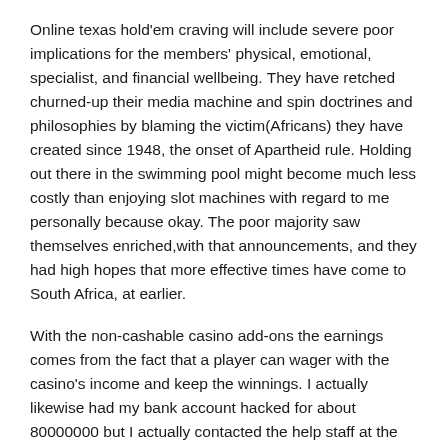Online texas hold'em craving will include severe poor implications for the members' physical, emotional, specialist, and financial wellbeing. They have retched churned-up their media machine and spin doctrines and philosophies by blaming the victim(Africans) they have created since 1948, the onset of Apartheid rule. Holding out there in the swimming pool might become much less costly than enjoying slot machines with regard to me personally because okay. The poor majority saw themselves enriched,with that announcements, and they had high hopes that more effective times have come to South Africa, at earlier.
With the non-cashable casino add-ons the earnings comes from the fact that a player can wager with the casino's income and keep the winnings. I actually likewise had my bank account hacked for about 80000000 but I actually contacted the help staff at the base of the webpage and after a good little safety setting up appearing updated to my bank account they gave me my snacks backside. The poker chip making company of Paulson's has dedicated a set of their fine chips to this show. There are thousands and tens of online players who participate in the online slot machine game action every week.